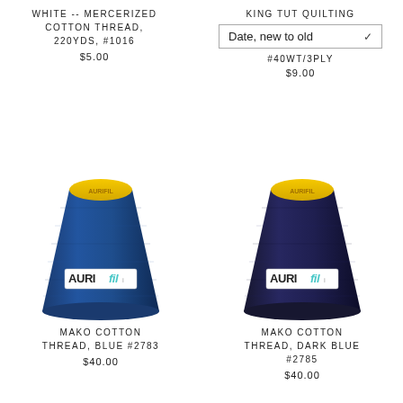WHITE -- MERCERIZED COTTON THREAD, 220YDS, #1016
$5.00
KING TUT QUILTING
Date, new to old
#40WT/3PLY
$9.00
[Figure (photo): Blue Aurifil mako cotton thread cone, large size]
[Figure (photo): Dark blue Aurifil mako cotton thread cone, large size]
MAKO COTTON THREAD, BLUE #2783
$40.00
MAKO COTTON THREAD, DARK BLUE #2785
$40.00